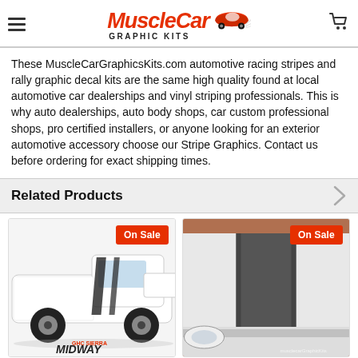MuscleCar Graphic Kits
These MuscleCarGraphicsKits.com automotive racing stripes and rally graphic decal kits are the same high quality found at local automotive car dealerships and vinyl striping professionals. This is why auto dealerships, auto body shops, car custom professional shops, pro certified installers, or anyone looking for an exterior automotive accessory choose our Stripe Graphics. Contact us before ordering for exact shipping times.
Related Products
[Figure (photo): White GMC Sierra truck with black racing stripes - GHC Sierra Midway graphic kit product photo]
[Figure (photo): Close up of white truck hood with dark grey stripe graphic decal - On Sale product photo]